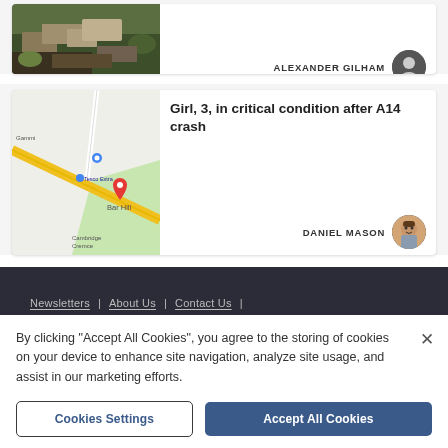[Figure (photo): Partial view of article card showing outdoor rubble/debris image, partially cropped at top of page, with ALEXANDER GILHAM author credit and generic person silhouette avatar]
[Figure (map): Google Maps screenshot showing A14 road near Bar Hill, Cambridge, with a red map pin marker indicating crash location]
Girl, 3, in critical condition after A14 crash
DANIEL MASON
Newsletters  |  About Us  |  Contact Us  |
By clicking "Accept All Cookies", you agree to the storing of cookies on your device to enhance site navigation, analyze site usage, and assist in our marketing efforts.
Cookies Settings
Accept All Cookies